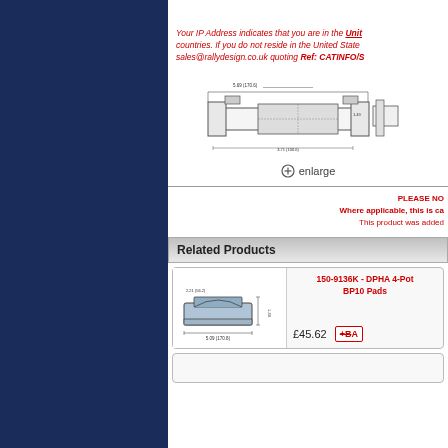Your IP Address indicates that you are in the United States or one of its territories. Websites for these countries. If you do not reside in the United States please email sales@rallydesign.co.uk quoting Ref: CATINFO/S
[Figure (engineering-diagram): Technical engineering drawing of a brake caliper component with dimensional annotations]
enlarge
PLEASE NO Where applicable, this is ca This product was added
Related Products
[Figure (engineering-diagram): Technical drawing of brake pads (DPHA 4-Pot BP10 Pads) with dimensions]
150-9136K - DPHA 4-Pot BP10 Pads
£45.62